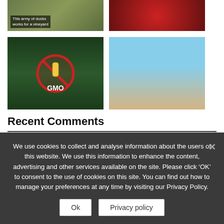[Figure (photo): Ducks in a vineyard/field with caption 'This army of ducks works for a vineyard']
[Figure (photo): Red background image, appears to be a movie or graphic poster]
[Figure (photo): No-GMO sign over a corn field background]
[Figure (photo): Group of women lying on a beach]
Recent Comments
Paul Allen: Law required stating the amount of glyphosate in every item. Our politicians and
We use cookies to collect and analyse information about the users of this website. We use this information to enhance the content, advertising and other services available on the site. Please click 'OK' to consent to the use of cookies on this site. You can find out how to manage your preferences at any time by visiting our Privacy Policy.